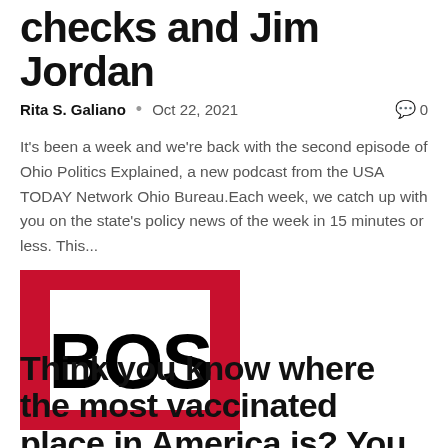checks and Jim Jordan
Rita S. Galiano  •  Oct 22, 2021   💬 0
It's been a week and we're back with the second episode of Ohio Politics Explained, a new podcast from the USA TODAY Network Ohio Bureau.Each week, we catch up with you on the state's policy news of the week in 15 minutes or less. This...
[Figure (logo): BOS logo — bold black letters 'BOS' inside a red square bracket/frame on white background]
Think you know where the most vaccinated place in America is? You might be